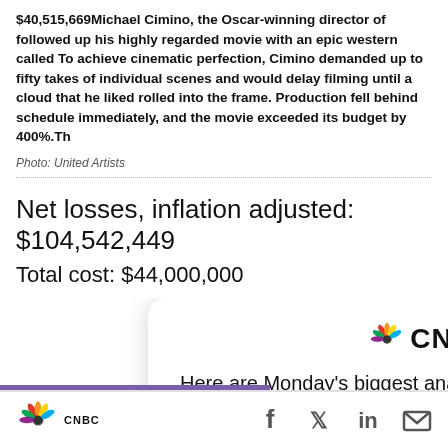$40,515,669Michael Cimino, the Oscar-winning director of followed up his highly regarded movie with an epic western called To achieve cinematic perfection, Cimino demanded up to fifty takes of individual scenes and would delay filming until a cloud that he liked rolled into the frame. Production fell behind schedule immediately, and the movie exceeded its budget by 400%.Th
Photo: United Artists
Net losses, inflation adjusted: $104,542,449
Total cost: $44,000,000
[Figure (screenshot): CNBC PRO subscription modal overlay on dark green background. Contains CNBC peacock logo, PRO badge, headline 'Here are Monday's biggest analyst calls: Tesla, Amazon, Exxon, Costco, Apple & more', and a green SUBSCRIBE NOW button. A close (X) button appears top right.]